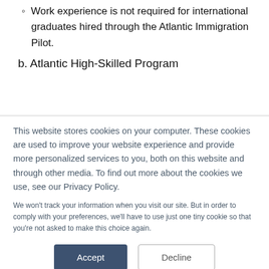Work experience is not required for international graduates hired through the Atlantic Immigration Pilot.
b. Atlantic High-Skilled Program
This website stores cookies on your computer. These cookies are used to improve your website experience and provide more personalized services to you, both on this website and through other media. To find out more about the cookies we use, see our Privacy Policy.
We won't track your information when you visit our site. But in order to comply with your preferences, we'll have to use just one tiny cookie so that you're not asked to make this choice again.